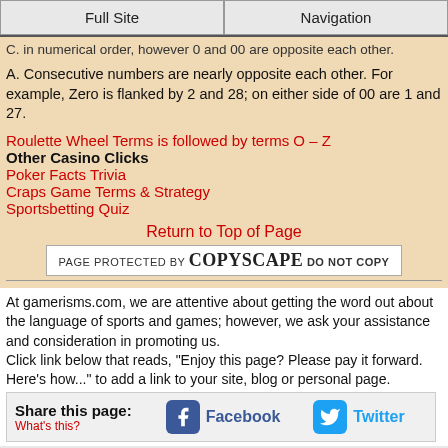Full Site | Navigation
C. in numerical order, however 0 and 00 are opposite each other.
A. Consecutive numbers are nearly opposite each other. For example, Zero is flanked by 2 and 28; on either side of 00 are 1 and 27.
Roulette Wheel Terms is followed by terms O – Z
Other Casino Clicks
Poker Facts Trivia
Craps Game Terms & Strategy
Sportsbetting Quiz
Return to Top of Page
[Figure (other): PAGE PROTECTED BY COPYSCAPE DO NOT COPY badge]
At gamerisms.com, we are attentive about getting the word out about the language of sports and games; however, we ask your assistance and consideration in promoting us.
Click link below that reads, "Enjoy this page? Please pay it forward. Here's how..." to add a link to your site, blog or personal page.
Share this page: What's this? Facebook Twitter
Cookies help us deliver our services. By using our services, you agree to our use of cookies. Privacy policy.
Agree and Continue